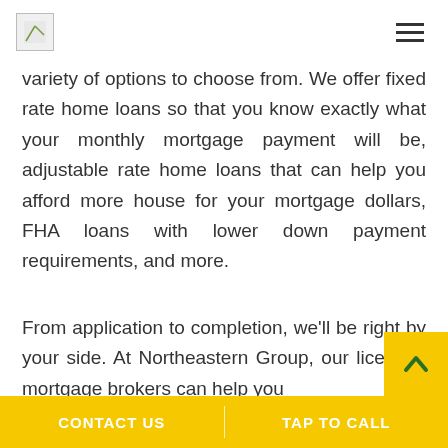[Figure (logo): Small logo image placeholder in top left of header]
[Figure (other): Hamburger menu icon (three horizontal lines) in top right of header]
variety of options to choose from. We offer fixed rate home loans so that you know exactly what your monthly mortgage payment will be, adjustable rate home loans that can help you afford more house for your mortgage dollars, FHA loans with lower down payment requirements, and more.
From application to completion, we'll be right by your side. At Northeastern Group, our licensed mortgage brokers can help you
CONTACT US   TAP TO CALL